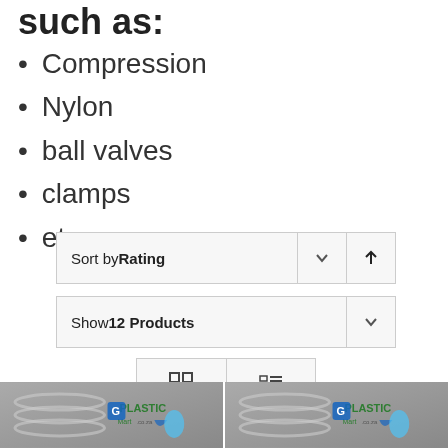such as:
Compression
Nylon
ball valves
clamps
etc
Sort by Rating
Show 12 Products
[Figure (screenshot): Grid and list view toggle buttons]
[Figure (photo): Two product thumbnail images showing metal pipes with PlasticMart.co.za logo overlaid]